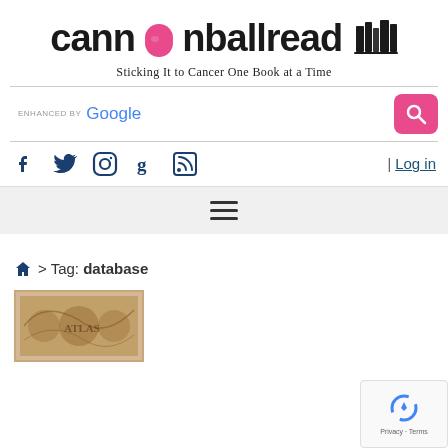[Figure (logo): Cannonball Read logo with pink ball replacing 'o', books icon on right, tagline below]
Sticking It to Cancer One Book at a Time
ENHANCED BY Google [search bar with pink search button]
[Figure (infographic): Social media icons: Facebook, Twitter, Instagram, Goodreads, RSS feed, and Log in link]
[Figure (infographic): Hamburger menu icon (three horizontal lines)]
🏠 > Tag: database
[Figure (photo): Partial thumbnail of a book cover with ornate pattern design]
[Figure (other): reCAPTCHA badge showing Privacy and Terms links]